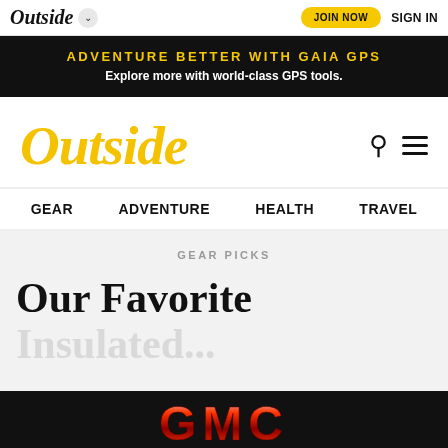Outside ▾  JOIN NOW  SIGN IN
[Figure (infographic): Black banner ad: ADVENTURE BETTER WITH GAIA GPS — Explore more with world-class GPS tools.]
[Figure (logo): Outside magazine logo in yellow italic serif font, with search and hamburger menu icons]
GEAR  ADVENTURE  HEALTH  TRAVEL
GEAR PICKS
Our Favorite
[Figure (logo): GMC logo advertisement banner at bottom of page]